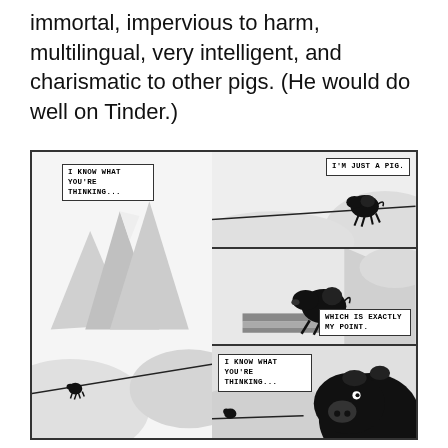immortal, impervious to harm, multilingual, very intelligent, and charismatic to other pigs. (He would do well on Tinder.)
[Figure (illustration): A four-panel comic strip in black and white showing a pig walking along a tightrope/wire through a dramatic mountain landscape. Panel 1 (large left): snowy mountain scenery with a small pig silhouette on a wire in the lower portion, speech bubble 'I KNOW WHAT YOU'RE THINKING...'. Top-right panel: pig on wire with speech bubble 'I'M JUST A PIG.' Middle-right panel: larger pig silhouette walking on a striped surface/bridge, speech bubble 'WHICH IS EXACTLY MY POINT.' Bottom-right panel: close-up of pig's face, speech bubble 'I KNOW WHAT YOU'RE THINKING...']